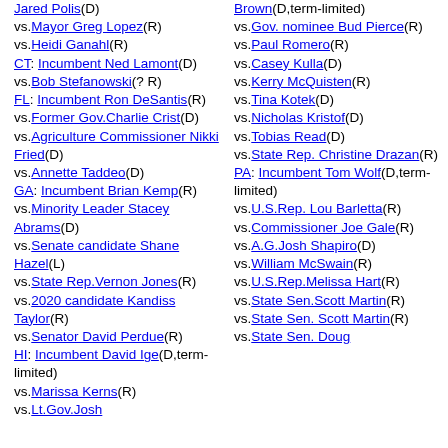Jared Polis(D) vs.Mayor Greg Lopez(R) vs.Heidi Ganahl(R) CT: Incumbent Ned Lamont(D) vs.Bob Stefanowski(? R) FL: Incumbent Ron DeSantis(R) vs.Former Gov.Charlie Crist(D) vs.Agriculture Commissioner Nikki Fried(D) vs.Annette Taddeo(D) GA: Incumbent Brian Kemp(R) vs.Minority Leader Stacey Abrams(D) vs.Senate candidate Shane Hazel(L) vs.State Rep.Vernon Jones(R) vs.2020 candidate Kandiss Taylor(R) vs.Senator David Perdue(R) HI: Incumbent David Ige(D,term-limited) vs.Marissa Kerns(R) vs.Lt.Gov.Josh
Brown(D,term-limited) vs.Gov. nominee Bud Pierce(R) vs.Paul Romero(R) vs.Casey Kulla(D) vs.Kerry McQuisten(R) vs.Tina Kotek(D) vs.Nicholas Kristof(D) vs.Tobias Read(D) vs.State Rep. Christine Drazan(R) PA: Incumbent Tom Wolf(D,term-limited) vs.U.S.Rep. Lou Barletta(R) vs.Commissioner Joe Gale(R) vs.A.G.Josh Shapiro(D) vs.William McSwain(R) vs.U.S.Rep.Melissa Hart(R) vs.State Sen.Scott Martin(R) vs.State Sen. Scott Martin(R) vs.State Sen. Doug